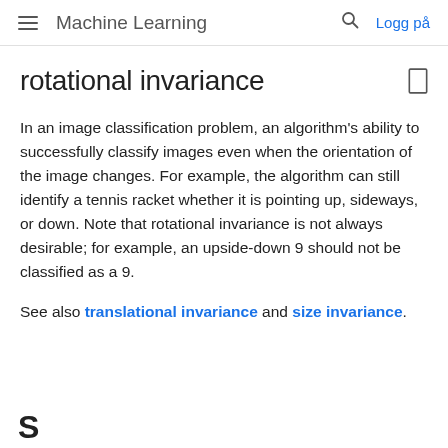Machine Learning   Logg på
rotational invariance
In an image classification problem, an algorithm's ability to successfully classify images even when the orientation of the image changes. For example, the algorithm can still identify a tennis racket whether it is pointing up, sideways, or down. Note that rotational invariance is not always desirable; for example, an upside-down 9 should not be classified as a 9.
See also translational invariance and size invariance.
S